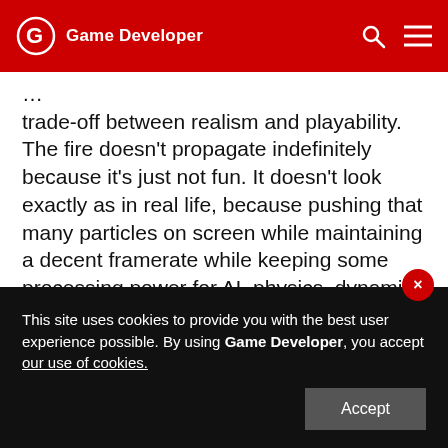Game Developer
trade-off between realism and playability. The fire doesn't propagate indefinitely because it's just not fun. It doesn't look exactly as in real life, because pushing that many particles on screen while maintaining a decent framerate while keeping some processing power for AI, physics, dynamic world loading, and other game components, was not possible. Actually, the balance between realism and playability is what I spent the most time on. The propagation mechanics were simple by
This site uses cookies to provide you with the best user experience possible. By using Game Developer, you accept our use of cookies.